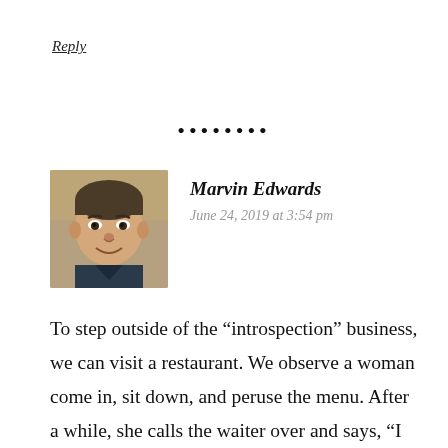Reply
••••••••
[Figure (photo): Profile photo of Marvin Edwards, a middle-aged man smiling]
Marvin Edwards
June 24, 2019 at 3:54 pm
To step outside of the “introspection” business, we can visit a restaurant. We observe a woman come in, sit down, and peruse the menu. After a while, she calls the waiter over and says, “I will have the Chef’s Salad, please”.